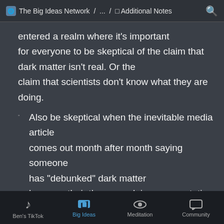The Big Ideas Network / ... / Additional Notes
entered a realm where it's important for everyone to be skeptical of the claim that dark matter isn't real. Or the claim that scientists don't know what they are doing.
Also be skeptical when the inevitable media article comes out month after month saying someone has "debunked" dark matter because their theory explains some rotation
Ben's TikTok | Big Ideas | Meditation | Community